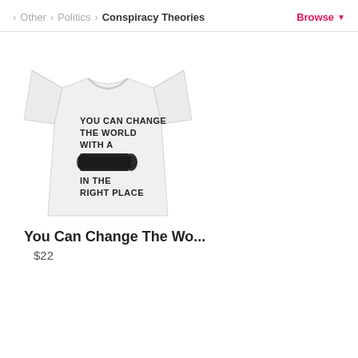Other > Politics > Conspiracy Theories   Browse
[Figure (illustration): White t-shirt with text and bullet image: YOU CAN CHANGE THE WORLD WITH A [bullet] IN THE RIGHT PLACE]
You Can Change The Wo...
$22